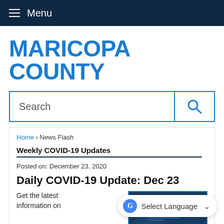Menu
MARICOPA COUNTY
[Figure (screenshot): Search bar with text 'Search' and a blue magnifying glass icon button on the right]
Home › News Flash
Weekly COVID-19 Updates
Posted on: December 23, 2020
Daily COVID-19 Update: Dec 23
Get the latest information on
[Figure (photo): Dark blue tinted photo of people wearing masks]
[Figure (screenshot): Google Translate widget showing 'Select Language' with dropdown arrow]